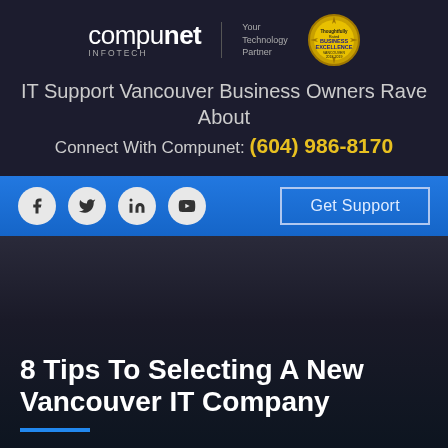[Figure (logo): Compunet Infotech logo with 'Your Technology Partner' tagline and a Business Excellence award badge]
IT Support Vancouver Business Owners Rave About
Connect With Compunet: (604) 986-8170
[Figure (infographic): Blue social media bar with Facebook, Twitter, LinkedIn, YouTube icons and a 'Get Support' button]
8 Tips To Selecting A New Vancouver IT Company